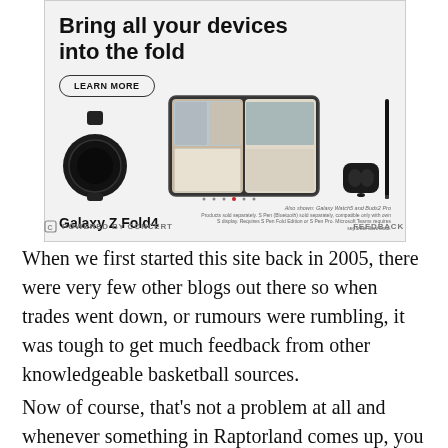[Figure (illustration): Samsung Galaxy Z Fold4 advertisement. Shows the text 'Bring all your devices into the fold' with a LEARN MORE button. Image shows a Galaxy watch, a foldable phone with a video call on screen, earbuds case, and a stylus pen. Bottom text reads 'Galaxy Z Fold4' with small disclaimer text. Also shown: Galaxy Watch5 and Buds2 Pro.]
POWERED BY CONCERT     FEEDBACK
When we first started this site back in 2005, there were very few other blogs out there so when trades went down, or rumours were rumbling, it was tough to get much feedback from other knowledgeable basketball sources.
Now of course, that's not a problem at all and whenever something in Raptorland comes up, you can always reach out to an educated source for further